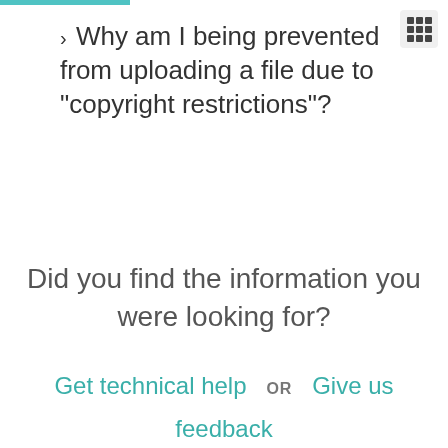› Why am I being prevented from uploading a file due to "copyright restrictions"?
Did you find the information you were looking for?
Get technical help  OR  Give us feedback  OR  Report a bug